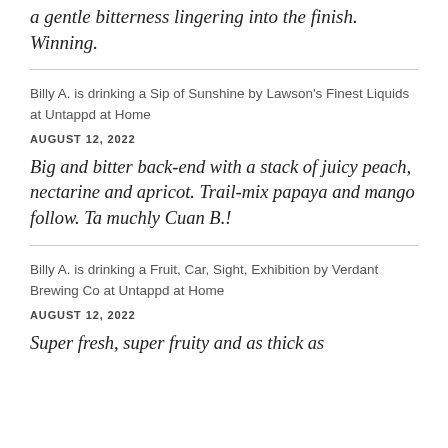a gentle bitterness lingering into the finish. Winning.
Billy A. is drinking a Sip of Sunshine by Lawson's Finest Liquids at Untappd at Home
AUGUST 12, 2022
Big and bitter back-end with a stack of juicy peach, nectarine and apricot. Trail-mix papaya and mango follow. Ta muchly Cuan B.!
Billy A. is drinking a Fruit, Car, Sight, Exhibition by Verdant Brewing Co at Untappd at Home
AUGUST 12, 2022
Super fresh, super fruity and as thick as